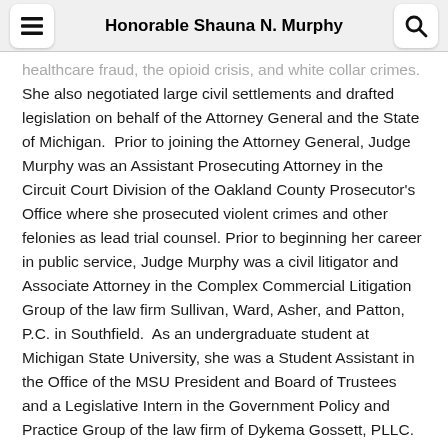Honorable Shauna N. Murphy
healthcare fraud, the opioid crisis, and white collar crimes. She also negotiated large civil settlements and drafted legislation on behalf of the Attorney General and the State of Michigan.  Prior to joining the Attorney General, Judge Murphy was an Assistant Prosecuting Attorney in the Circuit Court Division of the Oakland County Prosecutor's Office where she prosecuted violent crimes and other felonies as lead trial counsel. Prior to beginning her career in public service, Judge Murphy was a civil litigator and Associate Attorney in the Complex Commercial Litigation Group of the law firm Sullivan, Ward, Asher, and Patton, P.C. in Southfield.  As an undergraduate student at Michigan State University, she was a Student Assistant in the Office of the MSU President and Board of Trustees and a Legislative Intern in the Government Policy and Practice Group of the law firm of Dykema Gossett, PLLC.  As a law student at